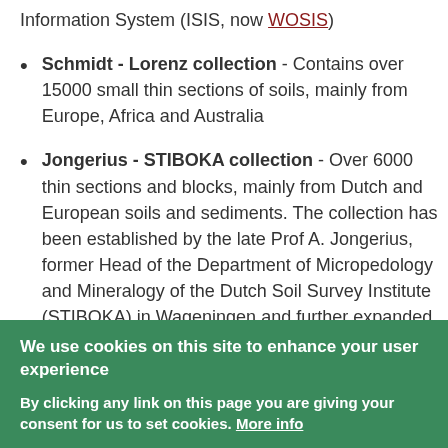Information System (ISIS, now WOSIS)
Schmidt - Lorenz collection - Contains over 15000 small thin sections of soils, mainly from Europe, Africa and Australia
Jongerius - STIBOKA collection - Over 6000 thin sections and blocks, mainly from Dutch and European soils and sediments. The collection has been established by the late Prof A. Jongerius, former Head of the Department of Micropedology and Mineralogy of the Dutch Soil Survey Institute (STIBOKA) in Wageningen and further expanded by
We use cookies on this site to enhance your user experience
By clicking any link on this page you are giving your consent for us to set cookies. More info